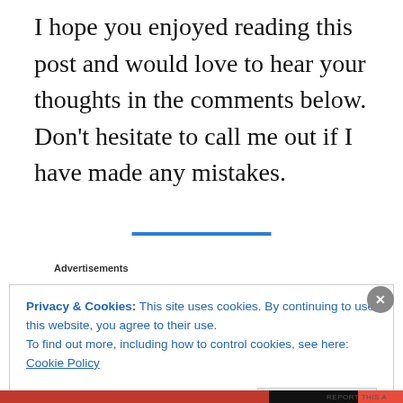I hope you enjoyed reading this post and would love to hear your thoughts in the comments below. Don’t hesitate to call me out if I have made any mistakes.
Advertisements
Privacy & Cookies: This site uses cookies. By continuing to use this website, you agree to their use.
To find out more, including how to control cookies, see here: Cookie Policy
Close and accept